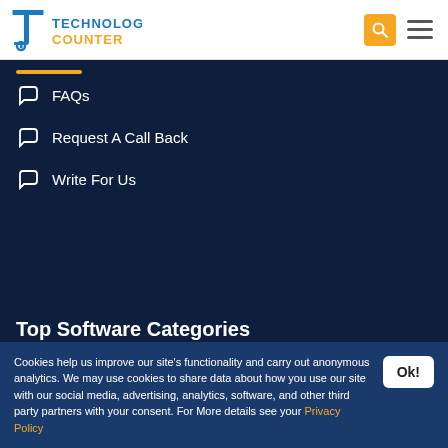Technology Counter
FAQs
Request A Call Back
Write For Us
Top Software Categories
HR Software
Cookies help us improve our site's functionality and carry out anonymous analytics. We may use cookies to share data about how you use our site with our social media, advertising, analytics, software, and other third party partners with your consent. For More details see your Privacy Policy